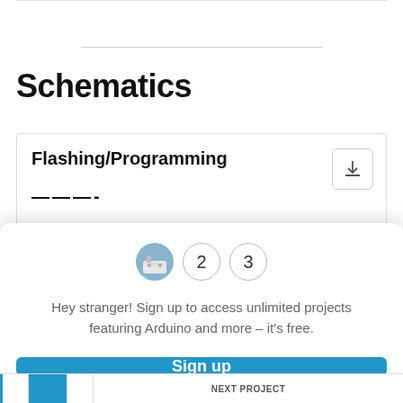Schematics
Flashing/Programming
[Figure (screenshot): Modal dialog with avatar and numbered circles (1, 2, 3), sign-up prompt, Sign up button, and Not now link]
Hey stranger! Sign up to access unlimited projects featuring Arduino and more – it's free.
Sign up
Not now
NEXT PROJECT